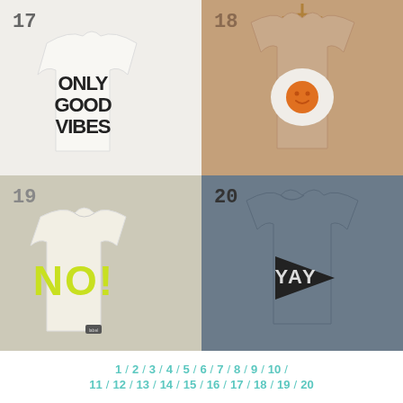[Figure (photo): White children's t-shirt with bold black text reading ONLY GOOD VIBES, labeled number 17]
[Figure (photo): Tan/beige children's t-shirt on a hanger with a fried egg graphic featuring a smiley face, labeled number 18]
[Figure (photo): White/cream children's t-shirt with bright yellow-green bold text reading NO!, labeled number 19]
[Figure (photo): Gray children's t-shirt with a black triangle pennant graphic reading YAY, labeled number 20]
1 / 2 / 3 / 4 / 5 / 6 / 7 / 8 / 9 / 10 / 11 / 12 / 13 / 14 / 15 / 16 / 17 / 18 / 19 / 20